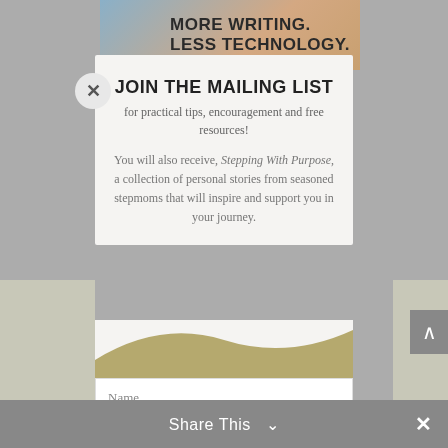[Figure (screenshot): Top banner image showing blurred photo with text MORE WRITING. LESS TECHNOLOGY.]
JOIN THE MAILING LIST
for practical tips, encouragement and free resources!
You will also receive, Stepping With Purpose, a collection of personal stories from seasoned stepmoms that will inspire and support you in your journey.
[Figure (screenshot): Mailing list signup form with Name and Email input fields on gold/tan background with wave design]